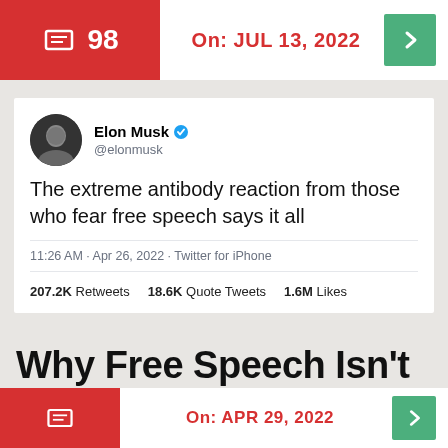On: JUL 13, 2022
[Figure (screenshot): Elon Musk tweet: 'The extreme antibody reaction from those who fear free speech says it all' — 11:26 AM · Apr 26, 2022 · Twitter for iPhone. 207.2K Retweets  18.6K Quote Tweets  1.6M Likes]
Why Free Speech Isn't An Excuse
On: APR 29, 2022